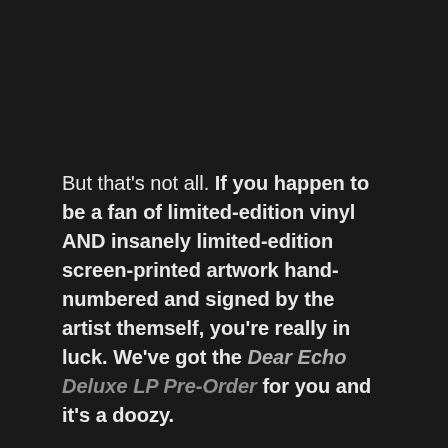But that's not all. If you happen to be a fan of limited-edition vinyl AND insanely limited-edition screen-printed artwork hand-numbered and signed by the artist themself, you're really in luck. We've got the Dear Echo Deluxe LP Pre-Order for you and it's a doozy.